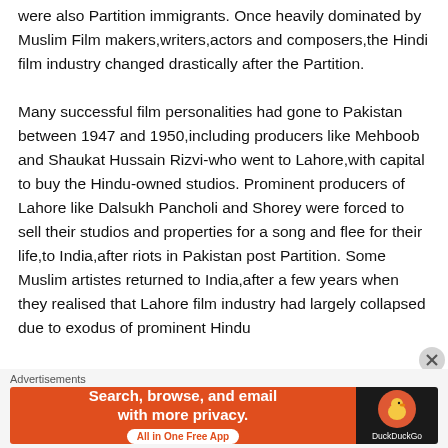were also Partition immigrants. Once heavily dominated by Muslim Film makers,writers,actors and composers,the Hindi film industry changed drastically after the Partition.

Many successful film personalities had gone to Pakistan between 1947 and 1950,including producers like Mehboob and Shaukat Hussain Rizvi-who went to Lahore,with capital to buy the Hindu-owned studios. Prominent producers of Lahore like Dalsukh Pancholi and Shorey were forced to sell their studios and properties for a song and flee for their life,to India,after riots in Pakistan post Partition. Some Muslim artistes returned to India,after a few years when they realised that Lahore film industry had largely collapsed due to exodus of prominent Hindu
[Figure (other): DuckDuckGo advertisement banner: orange background on left with text 'Search, browse, and email with more privacy.' and 'All in One Free App' button; dark background on right with DuckDuckGo logo duck icon and 'DuckDuckGo' label.]